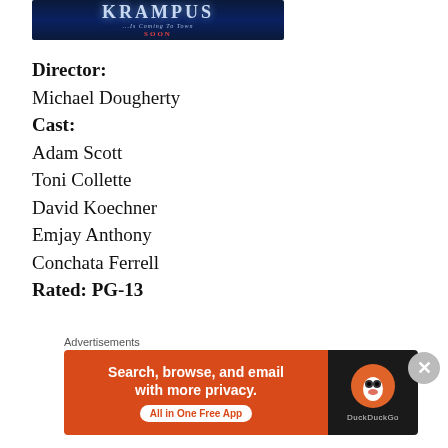[Figure (photo): Krampus movie banner with dark blue background, icy title text reading KRAMPUS, subtitle '...Is Coming To Town', and SOON in red]
Director:
Michael Dougherty
Cast:
Adam Scott
Toni Collette
David Koechner
Emjay Anthony
Conchata Ferrell
Rated: PG-13
“Krampus” is a horror and dark comedy that
Advertisements
[Figure (screenshot): DuckDuckGo advertisement banner: orange-red left panel with text 'Search, browse, and email with more privacy. All in One Free App' and DuckDuckGo logo on dark right panel]